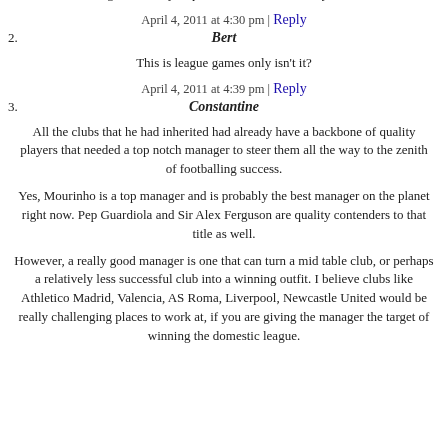capital letters) very irritating. But occasionally when the disdain ebbs off, I acknowledge he is truly a special coach. Sucks to say it but is true.
April 4, 2011 at 4:30 pm | Reply
2. Bert
This is league games only isn't it?
April 4, 2011 at 4:39 pm | Reply
3. Constantine
All the clubs that he had inherited had already have a backbone of quality players that needed a top notch manager to steer them all the way to the zenith of footballing success.
Yes, Mourinho is a top manager and is probably the best manager on the planet right now. Pep Guardiola and Sir Alex Ferguson are quality contenders to that title as well.
However, a really good manager is one that can turn a mid table club, or perhaps a relatively less successful club into a winning outfit. I believe clubs like Athletico Madrid, Valencia, AS Roma, Liverpool, Newcastle United would be really challenging places to work at, if you are giving the manager the target of winning the domestic league.